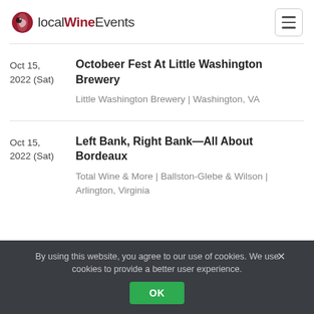localWineEvents
Oct 15, 2022 (Sat) — Octobeer Fest At Little Washington Brewery — Little Washington Brewery | Washington, VA
Oct 15, 2022 (Sat) — Left Bank, Right Bank—All About Bordeaux — Total Wine & More | Ballston-Glebe & Wilson | Arlington, Virginia
By using this website, you agree to our use of cookies. We use cookies to provide a better user experience.